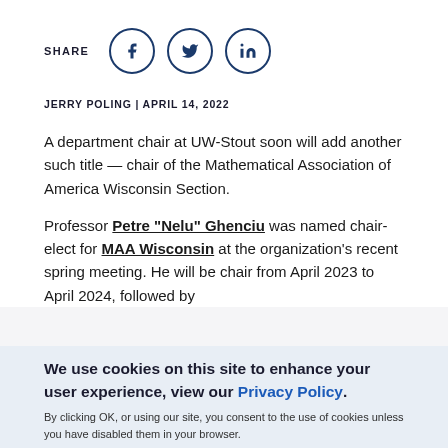[Figure (other): Share row with social media icons: Facebook, Twitter, LinkedIn circles with SHARE label]
JERRY POLING | APRIL 14, 2022
A department chair at UW-Stout soon will add another such title — chair of the Mathematical Association of America Wisconsin Section.
Professor Petre "Nelu" Ghenciu was named chair-elect for MAA Wisconsin at the organization's recent spring meeting. He will be chair from April 2023 to April 2024, followed by
We use cookies on this site to enhance your user experience, view our Privacy Policy.
By clicking OK, or using our site, you consent to the use of cookies unless you have disabled them in your browser.